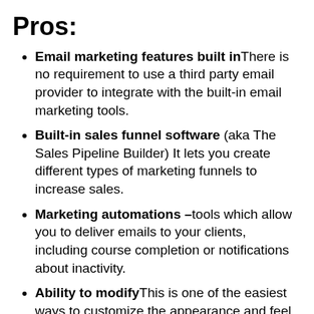Pros:
Email marketing features built in There is no requirement to use a third party email provider to integrate with the built-in email marketing tools.
Built-in sales funnel software (aka The Sales Pipeline Builder) It lets you create different types of marketing funnels to increase sales.
Marketing automations – tools which allow you to deliver emails to your clients, including course completion or notifications about inactivity.
Ability to modify This is one of the easiest ways to customize the appearance and feel of your website